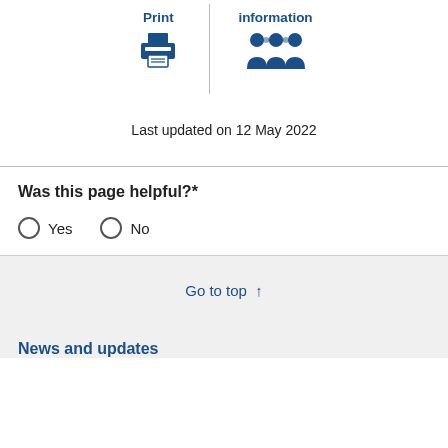[Figure (illustration): Two-column icon row: left column shows a printer icon labeled 'Print', separated by a vertical line from right column showing a group of people icon labeled 'information']
Last updated on 12 May 2022
Was this page helpful?*
Yes   No
Go to top ↑
News and updates